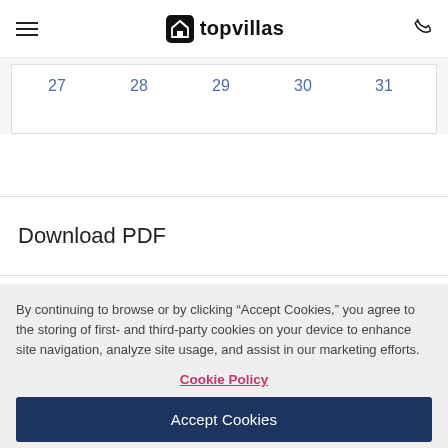topvillas
| 27 | 28 | 29 | 30 | 31 |
| --- | --- | --- | --- | --- |
Download PDF
By continuing to browse or by clicking “Accept Cookies,” you agree to the storing of first- and third-party cookies on your device to enhance site navigation, analyze site usage, and assist in our marketing efforts.
Cookie Policy
Accept Cookies